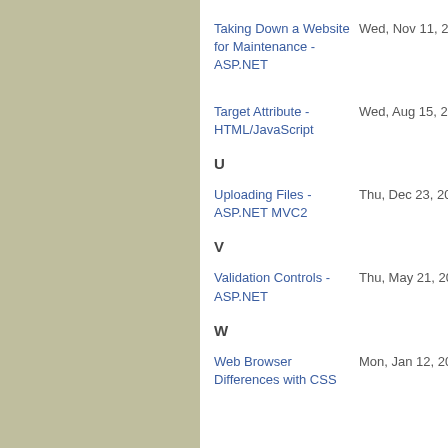Taking Down a Website for Maintenance - ASP.NET | Wed, Nov 11, 2009, 1...
Target Attribute - HTML/JavaScript | Wed, Aug 15, 2012, 1...
U
Uploading Files - ASP.NET MVC2 | Thu, Dec 23, 2010, 3...
V
Validation Controls - ASP.NET | Thu, May 21, 2009, 12...
W
Web Browser Differences with CSS | Mon, Jan 12, 2009, 10...